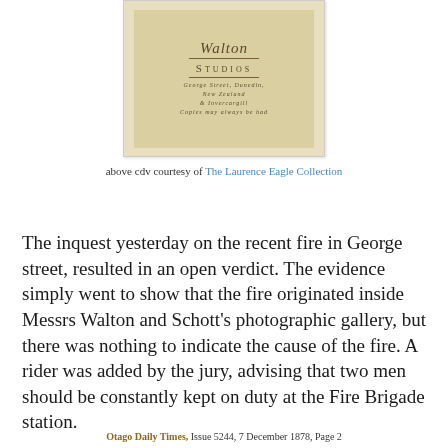[Figure (photo): Back of a carte de visite (CDV) from Walton Studios, George Street, Dunedin, New Zealand. Shows decorative script logo, studio name in small caps, address and 'Copies may always be had' text on aged yellowish card stock.]
above cdv courtesy of The Laurence Eagle Collection
The inquest yesterday on the recent fire in George street, resulted in an open verdict. The evidence simply went to show that the fire originated inside Messrs Walton and Schott's photographic gallery, but there was nothing to indicate the cause of the fire. A rider was added by the jury, advising that two men should be constantly kept on duty at the Fire Brigade station.
Otago Daily Times, Issue 5244, 7 December 1878, Page 2